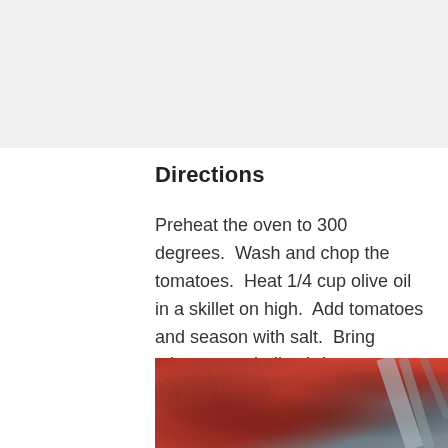[Figure (photo): A light gray background area at the top of the page, representing a cropped photo region.]
Directions
Preheat the oven to 300 degrees.  Wash and chop the tomatoes.  Heat 1/4 cup olive oil in a skillet on high.  Add tomatoes and season with salt.  Bring mixture to a boil, stirring frequently.  Cook until super soft {about 10 minutes}.
[Figure (photo): Close-up photo of cooked tomato sauce in a baking dish, with red-orange tomato mixture visible and a silver/dark utensil in the background right corner.]